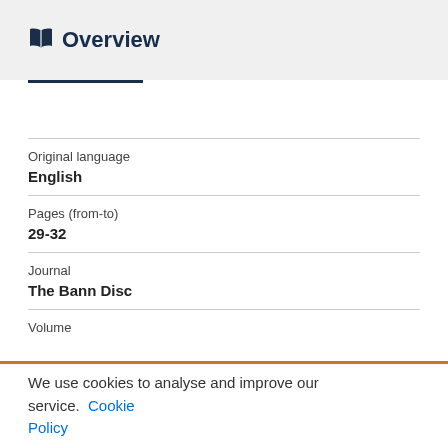Overview
Original language
English
Pages (from-to)
29-32
Journal
The Bann Disc
Volume
We use cookies to analyse and improve our service. Cookie Policy